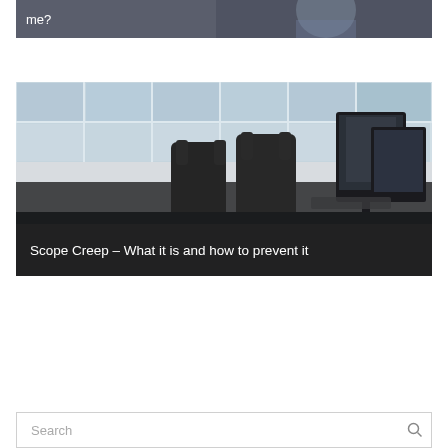[Figure (photo): Partial view of a person with text 'me?' visible, dark background, top of page image]
[Figure (photo): Office meeting room with dark chairs, a table, monitors, and large windows with blue-tinted glass panels. Caption overlay reads 'Scope Creep – What it is and how to prevent it']
Scope Creep – What it is and how to prevent it
Search